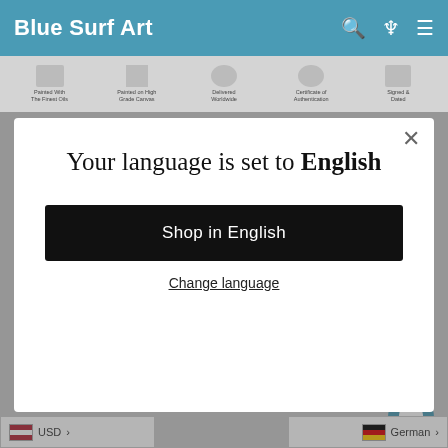Blue Surf Art
[Figure (screenshot): Website header banner with trust badges: Painted With The Finest Oils, Painted on High Grade Canvas, Delivered Worldwide, Certificate of Authentication, Signed & Dated]
[Figure (screenshot): Language selection modal dialog with text 'Your language is set to English', a 'Shop in English' button, and 'Change language' link. Below the modal is a partial product image and page text.]
Your language is set to English
Shop in English
Change language
You can either get your painting stretched or fr... ning store or stretch it your... cheaply by doing it yourself following our online guide.